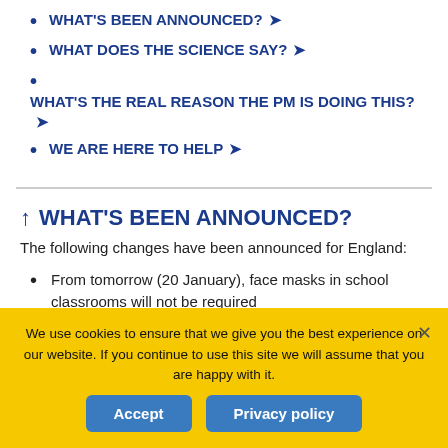WHAT'S BEEN ANNOUNCED? ➤
WHAT DOES THE SCIENCE SAY? ➤
WHAT'S THE REAL REASON THE PM IS DOING THIS? ➤
WE ARE HERE TO HELP ➤
↑ WHAT'S BEEN ANNOUNCED?
The following changes have been announced for England:
From tomorrow (20 January), face masks in school classrooms will not be required
We use cookies to ensure that we give you the best experience on our website. If you continue to use this site we will assume that you are happy with it.
Accept  Privacy policy